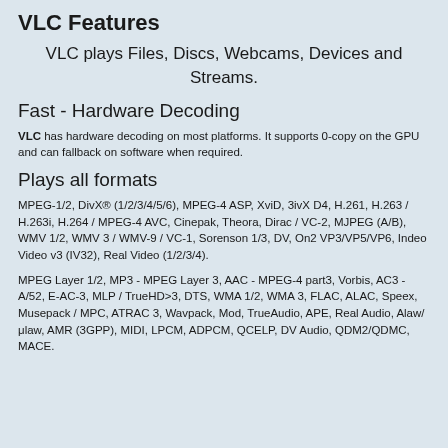VLC Features
VLC plays Files, Discs, Webcams, Devices and Streams.
Fast - Hardware Decoding
VLC has hardware decoding on most platforms. It supports 0-copy on the GPU and can fallback on software when required.
Plays all formats
MPEG-1/2, DivX® (1/2/3/4/5/6), MPEG-4 ASP, XviD, 3ivX D4, H.261, H.263 / H.263i, H.264 / MPEG-4 AVC, Cinepak, Theora, Dirac / VC-2, MJPEG (A/B), WMV 1/2, WMV 3 / WMV-9 / VC-1, Sorenson 1/3, DV, On2 VP3/VP5/VP6, Indeo Video v3 (IV32), Real Video (1/2/3/4).
MPEG Layer 1/2, MP3 - MPEG Layer 3, AAC - MPEG-4 part3, Vorbis, AC3 - A/52, E-AC-3, MLP / TrueHD>3, DTS, WMA 1/2, WMA 3, FLAC, ALAC, Speex, Musepack / MPC, ATRAC 3, Wavpack, Mod, TrueAudio, APE, Real Audio, Alaw/μlaw, AMR (3GPP), MIDI, LPCM, ADPCM, QCELP, DV Audio, QDM2/QDMC, MACE.